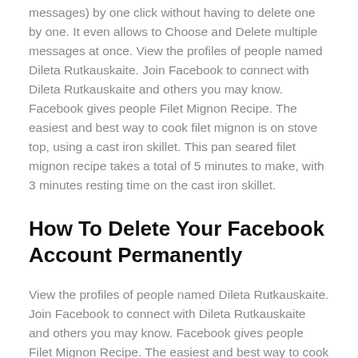messages) by one click without having to delete one by one. It even allows to Choose and Delete multiple messages at once. View the profiles of people named Dileta Rutkauskaite. Join Facebook to connect with Dileta Rutkauskaite and others you may know. Facebook gives people Filet Mignon Recipe. The easiest and best way to cook filet mignon is on stove top, using a cast iron skillet. This pan seared filet mignon recipe takes a total of 5 minutes to make, with 3 minutes resting time on the cast iron skillet.
How To Delete Your Facebook Account Permanently
View the profiles of people named Dileta Rutkauskaite. Join Facebook to connect with Dileta Rutkauskaite and others you may know. Facebook gives people Filet Mignon Recipe. The easiest and best way to cook filet mignon is on stove top, using a cast iron skillet. This pan seared filet mignon recipe takes a